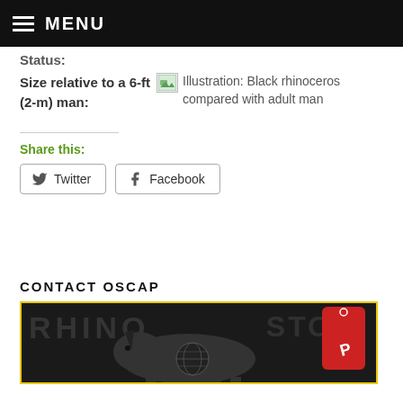MENU
Status:
Size relative to a 6-ft (2-m) man:
[Figure (illustration): Illustration: Black rhinoceros compared with adult man]
Share this:
Twitter
Facebook
CONTACT OSCAP
[Figure (illustration): Rhino Stop banner illustration with rhino silhouette and red shape]